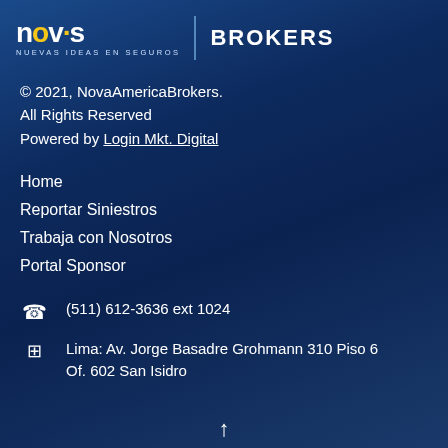[Figure (logo): Nova America Brokers logo — NOVA text with yellow dot, subtitle NUEVAS IDEAS EN SEGUROS, vertical divider, BROKERS text]
© 2021, NovaAmericaBrokers.
All Rights Reserved
Powered by Login Mkt. Digital
Home
Reportar Siniestros
Trabaja con Nosotros
Portal Sponsor
(511) 612-3636 ext 1024
Lima: Av. Jorge Basadre Grohmann 310 Piso 6 Of. 602 San Isidro